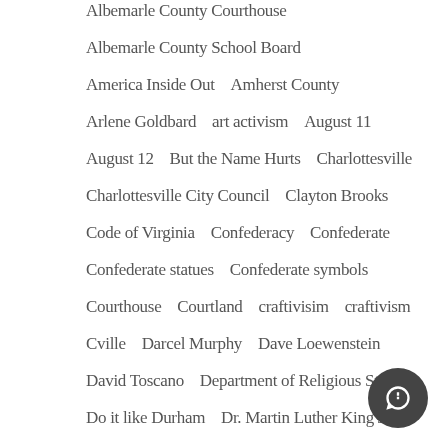Albemarle County Courthouse
Albemarle County School Board
America Inside Out   Amherst County
Arlene Goldbard   art activism   August 11
August 12   But the Name Hurts   Charlottesville
Charlottesville City Council   Clayton Brooks
Code of Virginia   Confederacy   Confederate
Confederate statues   Confederate symbols
Courthouse   Courtland   craftivisim   craftivism
Cville   Darcel Murphy   Dave Loewenstein
David Toscano   Department of Religious Studies
Do it like Durham   Dr. Martin Luther King J...
Durham County   Erin O'Hare   Francis C...